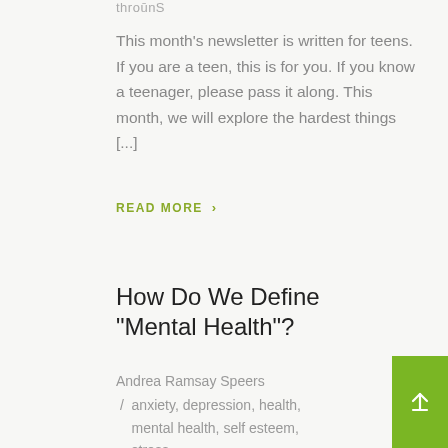throūnS
This month's newsletter is written for teens. If you are a teen, this is for you. If you know a teenager, please pass it along. This month, we will explore the hardest things [...]
READ MORE >
How Do We Define “Mental Health”?
Andrea Ramsay Speers / anxiety, depression, health, mental health, self esteem, stress